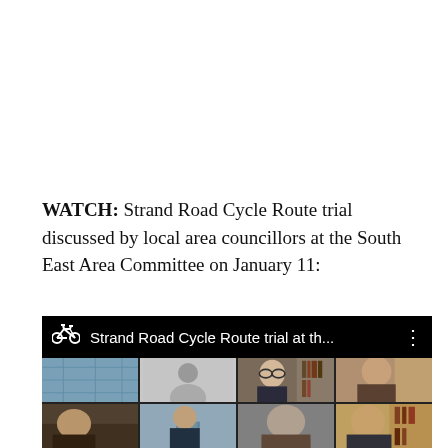WATCH: Strand Road Cycle Route trial discussed by local area councillors at the South East Area Committee on January 11:
[Figure (screenshot): Video thumbnail showing a grid of video conference participants with a black top bar containing a bicycle icon and the title 'Strand Road Cycle Route trial at th...' with a three-dot menu icon. The grid shows multiple participants including one anonymous avatar and several people visible on camera.]